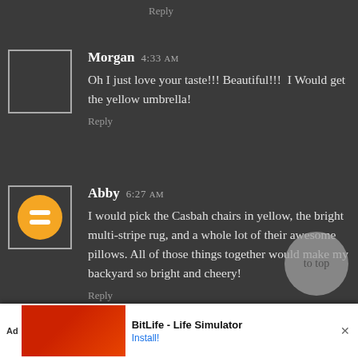Reply
Morgan 4:33 AM
Oh I just love your taste!!! Beautiful!!! I Would get the yellow umbrella!
Reply
Abby 6:27 AM
I would pick the Casbah chairs in yellow, the bright multi-stripe rug, and a whole lot of their awesome pillows. All of those things together would make my backyard so bright and cheery!
Reply
[Figure (other): to top circle button]
BitLife - Life Simulator
Install!